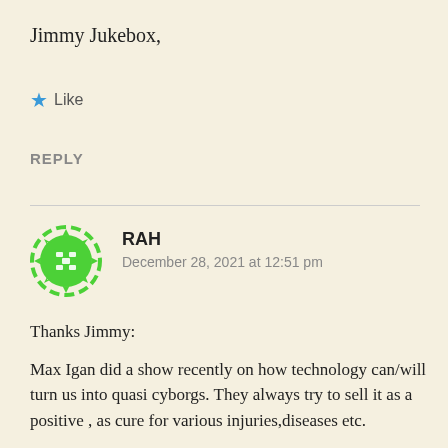Jimmy Jukebox,
★ Like
REPLY
[Figure (illustration): Green avatar icon with dice-like pattern, circular shape with dashed border]
RAH
December 28, 2021 at 12:51 pm
Thanks Jimmy:
Max Igan did a show recently on how technology can/will turn us into quasi cyborgs. They always try to sell it as a positive , as cure for various injuries,diseases etc.